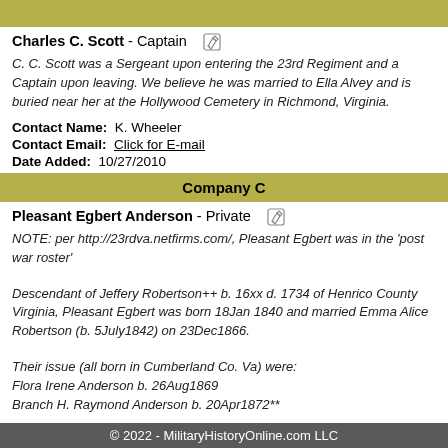Company (partial top)
Charles C. Scott - Captain
C. C. Scott was a Sergeant upon entering the 23rd Regiment and a Captain upon leaving. We believe he was married to Ella Alvey and is buried near her at the Hollywood Cemetery in Richmond, Virginia.
Contact Name: K. Wheeler
Contact Email: Click for E-mail
Date Added: 10/27/2010
Company C
Pleasant Egbert Anderson - Private
NOTE: per http://23rdva.netfirms.com/, Pleasant Egbert was in the 'post war roster'

Descendant of Jeffery Robertson++ b. 16xx d. 1734 of Henrico County Virginia, Pleasant Egbert was born 18Jan 1840 and married Emma Alice Robertson (b. 5July1842) on 23Dec1866.

Their issue (all born in Cumberland Co. Va) were: Flora Irene Anderson b. 26Aug1869
Branch H. Raymond Anderson b. 20Apr1872**
© 2022 - MilitaryHistoryOnline.com LLC